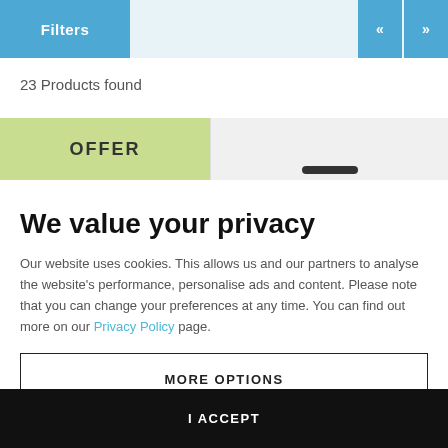Filters
23 Products found
[Figure (screenshot): Product listing strip with green OFFER badge on left and product image on right]
We value your privacy
Our website uses cookies. This allows us and our partners to analyse the website's performance, personalise ads and content. Please note that you can change your preferences at any time. You can find out more on our Privacy Policy page.
MORE OPTIONS
I ACCEPT